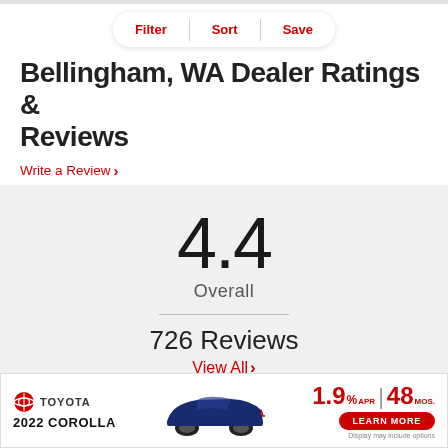[Figure (screenshot): Filter, Sort, Save pill navigation bar]
Bellingham, WA Dealer Ratings & Reviews
Write a Review ›
4.4
Overall
726 Reviews
View All ›
[Figure (infographic): Toyota 2022 Corolla advertisement banner with 1.9% APR 48 MOS financing offer and Learn More button]